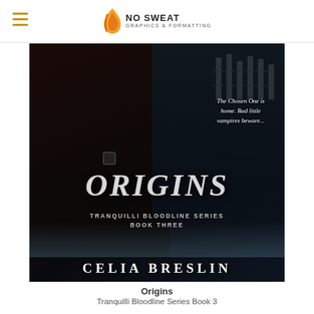No Sweat Graphics & Formatting
[Figure (photo): Book cover for 'Origins' – Tranquilli Bloodline Series Book Three by Celia Breslin. Dark cover featuring a woman with dark hair and red lips in foreground, a man in black shirt behind her, with tagline 'The Chosen One is home. Bad little vampires beware...' Text on cover: ORIGINS, TRANQUILLI BLOODLINE SERIES, BOOK THREE, CELIA BRESLIN.]
Origins
Tranquilli Bloodline Series Book 3